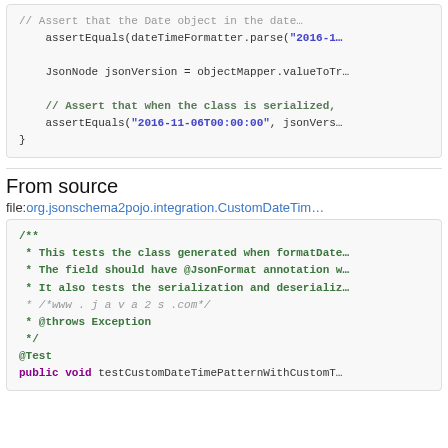[Figure (screenshot): Code block showing assertEquals and JsonNode lines with green comment and blue string literals]
From source
file:org.jsonschema2pojo.integration.CustomDateTim…
[Figure (screenshot): Code block with Javadoc comment and @Test annotation, showing green bold text and italic URL comment]